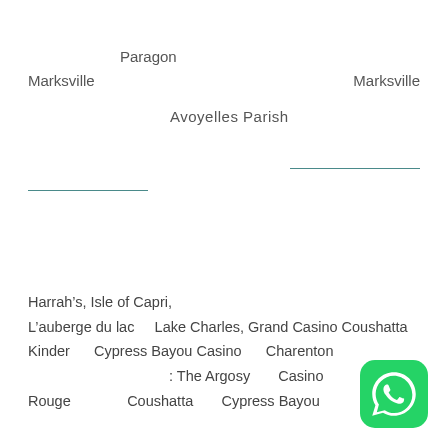Paragon
Marksville
Marksville
Avoyelles Parish
Harrah’s, Isle of Capri, L’auberge du lac   Lake Charles, Grand Casino Coushatta Kinder   Cypress Bayou Casino   Charenton : The Argosy   Casino Rouge   Coushatta   Cypress Bayou
[Figure (logo): WhatsApp green rounded square logo icon]